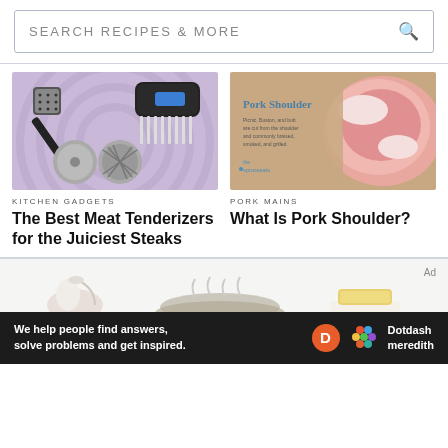SEARCH RECIPES & MORE
[Figure (screenshot): Kitchen gadgets meat tenderizers on purple background]
KITCHEN GADGETS
The Best Meat Tenderizers for the Juiciest Steaks
[Figure (photo): Pork shoulder cut on brown paper with text overlay from The Spruce Eats]
PORK MAINS
What Is Pork Shoulder?
[Figure (illustration): Bottom section showing partial illustrations of kitchen items including a gravy boat, food on plate, and butter on dish]
We help people find answers, solve problems and get inspired.
Dotdash meredith